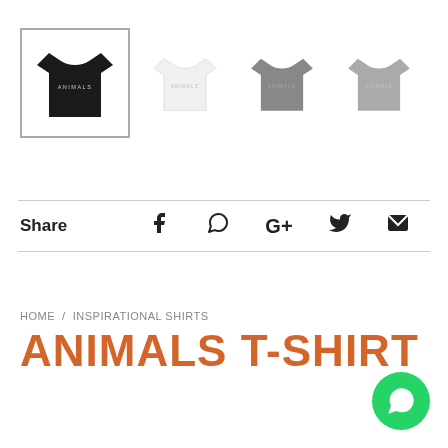[Figure (photo): Four t-shirt variants shown as thumbnails: black (selected/highlighted), white, medium grey, and light grey, each with 'ANIMALS' text printed on the chest.]
Share
HOME / INSPIRATIONAL SHIRTS
ANIMALS T-SHIRT